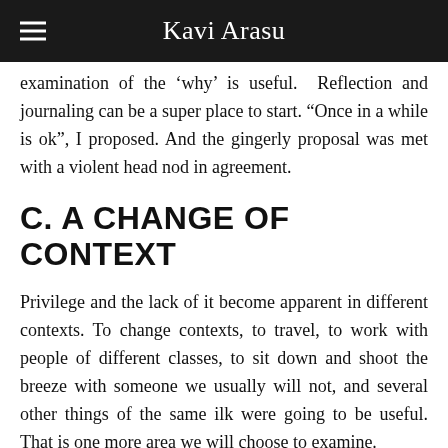Kavi Arasu
examination of the ‘why’ is useful.  Reflection and journaling can be a super place to start. “Once in a while is ok”, I proposed. And the gingerly proposal was met with a violent head nod in agreement.
C. A CHANGE OF CONTEXT
Privilege and the lack of it become apparent in different contexts. To change contexts, to travel, to work with people of different classes, to sit down and shoot the breeze with someone we usually will not, and several other things of the same ilk were going to be useful. That is one more area we will choose to examine.